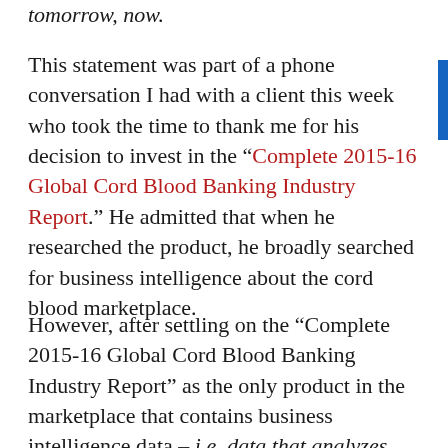tomorrow, now.
This statement was part of a phone conversation I had with a client this week who took the time to thank me for his decision to invest in the “Complete 2015-16 Global Cord Blood Banking Industry Report.” He admitted that when he researched the product, he broadly searched for business intelligence about the cord blood marketplace.
However, after settling on the “Complete 2015-16 Global Cord Blood Banking Industry Report” as the only product in the marketplace that contains business intelligence data – i.e. data that analyzes